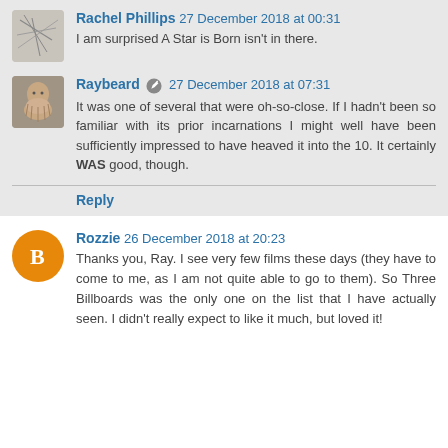Rachel Phillips  27 December 2018 at 00:31
I am surprised A Star is Born isn't in there.
Raybeard  27 December 2018 at 07:31
It was one of several that were oh-so-close. If I hadn't been so familiar with its prior incarnations I might well have been sufficiently impressed to have heaved it into the 10. It certainly WAS good, though.
Reply
Rozzie  26 December 2018 at 20:23
Thanks you, Ray. I see very few films these days (they have to come to me, as I am not quite able to go to them). So Three Billboards was the only one on the list that I have actually seen. I didn't really expect to like it much, but loved it!